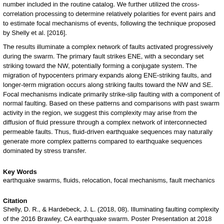number included in the routine catalog. We further utilized the cross-correlation processing to determine relatively polarities for event pairs and to estimate focal mechanisms of events, following the technique proposed by Shelly et al. [2016].
The results illuminate a complex network of faults activated progressively during the swarm. The primary fault strikes ENE, with a secondary set striking toward the NW, potentially forming a conjugate system. The migration of hypocenters primary expands along ENE-striking faults, and longer-term migration occurs along striking faults toward the NW and SE. Focal mechanisms indicate primarily strike-slip faulting with a component of normal faulting. Based on these patterns and comparisons with past swarm activity in the region, we suggest this complexity may arise from the diffusion of fluid pressure through a complex network of interconnected permeable faults. Thus, fluid-driven earthquake sequences may naturally generate more complex patterns compared to earthquake sequences dominated by stress transfer.
Key Words
earthquake swarms, fluids, relocation, focal mechanisms, fault mechanics
Citation
Shelly, D. R., & Hardebeck, J. L. (2018, 08). Illuminating faulting complexity of a 2016 Brawley, CA earthquake swarm. Poster Presentation at 2018 SCEC Annual Meeting.
Related Projects & Working Groups
Seismology